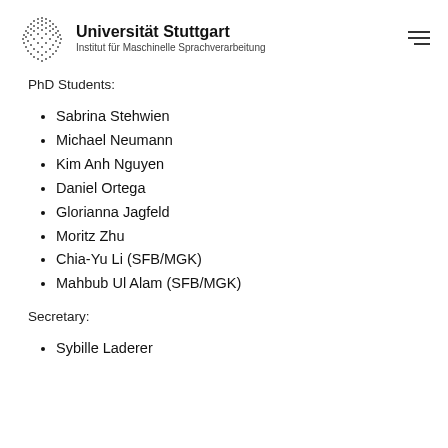Universität Stuttgart — Institut für Maschinelle Sprachverarbeitung
PhD Students:
Sabrina Stehwien
Michael Neumann
Kim Anh Nguyen
Daniel Ortega
Glorianna Jagfeld
Moritz Zhu
Chia-Yu Li (SFB/MGK)
Mahbub Ul Alam (SFB/MGK)
Secretary:
Sybille Laderer